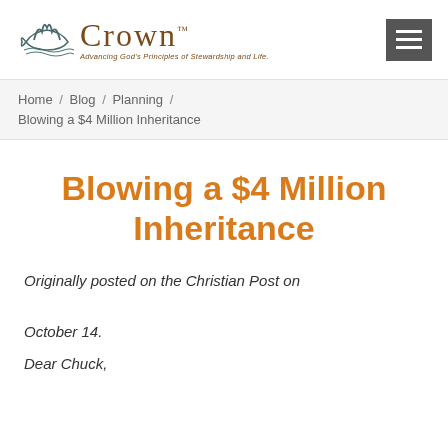[Figure (logo): Crown logo with fish/crown icon and text 'CROWN - Advancing God's Principles of Stewardship and Life' alongside a hamburger menu button]
Home / Blog / Planning / Blowing a $4 Million Inheritance
Blowing a $4 Million Inheritance
Originally posted on the Christian Post on October 14.
Dear Chuck,